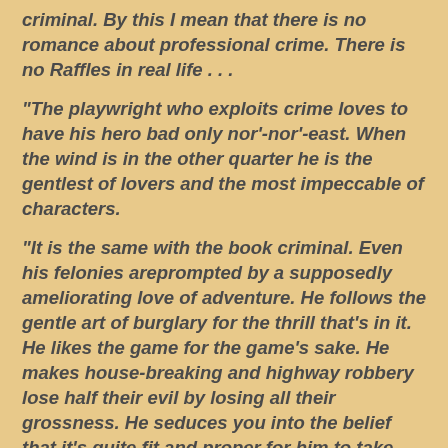criminal. By this I mean that there is no romance about professional crime. There is no Raffles in real life . . .
"The playwright who exploits crime loves to have his hero bad only nor'-nor'-east. When the wind is in the other quarter he is the gentlest of lovers and the most impeccable of characters.
"It is the same with the book criminal. Even his felonies areprompted by a supposedly ameliorating love of adventure. He follows the gentle art of burglary for the thrill that's in it. He likes the game for the game's sake. He makes house-breaking and highway robbery lose half their evil by losing all their grossness. He seduces you into the belief that it's quite fit and proper for him to take toll of the overjeweled ladies who are enjoying the same week-end with him in the same country house, or to exact midnight largesse from the altogether unsympathetic jeweler